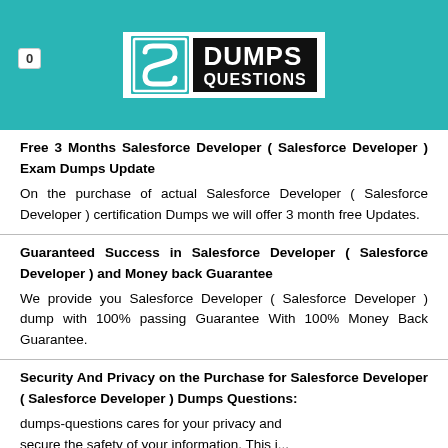[Figure (logo): DumpsQuestions logo with teal background, white S-shaped icon and black box with white text reading DUMPS QUESTIONS]
0
Free 3 Months Salesforce Developer ( Salesforce Developer ) Exam Dumps Update
On the purchase of actual Salesforce Developer ( Salesforce Developer ) certification Dumps we will offer 3 month free Updates.
Guaranteed Success in Salesforce Developer ( Salesforce Developer ) and Money back Guarantee
We provide you Salesforce Developer ( Salesforce Developer ) dump with 100% passing Guarantee With 100% Money Back Guarantee.
Security And Privacy on the Purchase for Salesforce Developer ( Salesforce Developer ) Dumps Questions:
dumps-questions cares for your privacy and ...